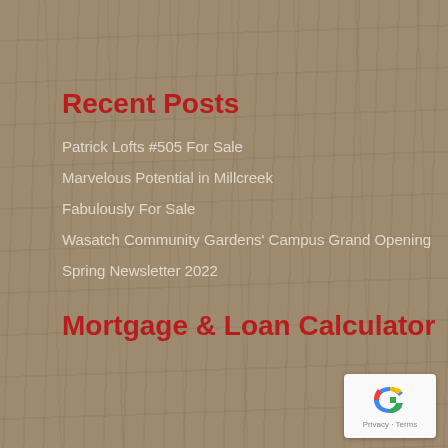Recent Posts
Patrick Lofts #505 For Sale
Marvelous Potential in Millcreek
Fabulously For Sale
Wasatch Community Gardens' Campus Grand Opening
Spring Newsletter 2022
Mortgage & Loan Calculator
[Figure (screenshot): Mortgage and Loan Calculator widget with tabs for 'mortgage' and 'loan', showing a Purchase price input field with value 300,000 and a dollar sign currency indicator]